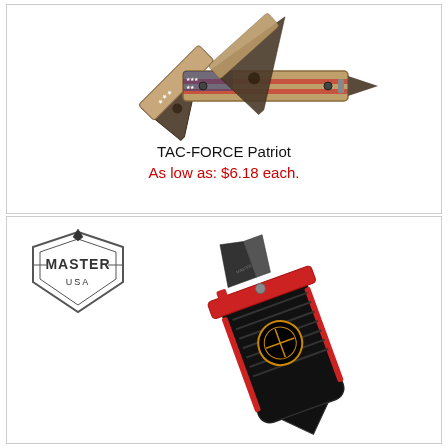[Figure (photo): TAC-FORCE Patriot folding knife shown open and closed, with American flag pattern handle]
TAC-FORCE Patriot
As low as: $6.18 each.
[Figure (photo): Master USA folding knife with black and red handle, shown next to the Master USA brand logo]
Master USA logo with brand badge